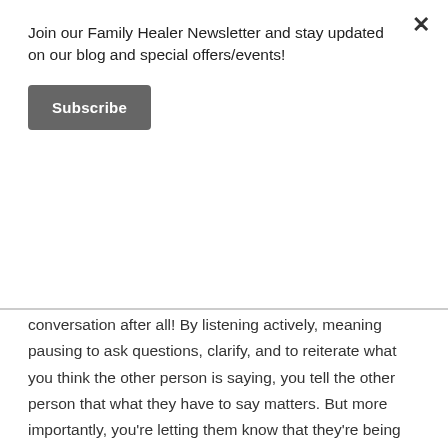Join our Family Healer Newsletter and stay updated on our blog and special offers/events!
Subscribe
conversation after all! By listening actively, meaning pausing to ask questions, clarify, and to reiterate what you think the other person is saying, you tell the other person that what they have to say matters. But more importantly, you’re letting them know that they’re being heard.
2. Look for the resolution over being right.
Giving up the notion that you have to